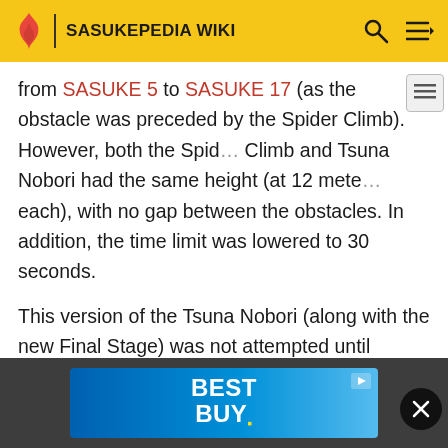SASUKEPEDIA WIKI
from SASUKE 5 to SASUKE 17 (as the obstacle was preceded by the Spider Climb). However, both the Spider Climb and Tsuna Nobori had the same height (at 12 meters each), with no gap between the obstacles. In addition, the time limit was lowered to 30 seconds.
This version of the Tsuna Nobori (along with the new Final Stage) was not attempted until SASUKE 30. One tournament later, Morimoto Yūsuke successfully completed the obstacle with 2.59 seconds left, achieving the fifth ever kanzenseiha in SASUKE and his first kanzenseiha during his overall appearances in SASUKE.
[Figure (other): Best Buy advertisement banner with blue gradient background and white bold text reading BEST BUY.]